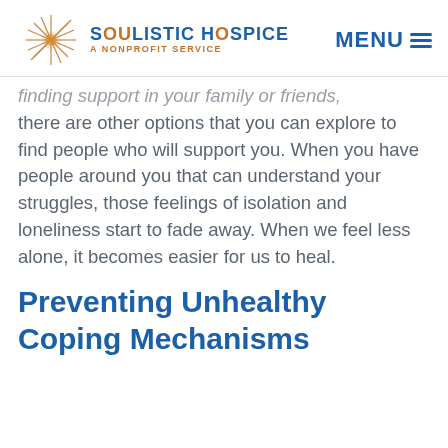Soulistic Hospice — A Nonprofit Service | MENU
finding support in your family or friends, there are other options that you can explore to find people who will support you. When you have people around you that can understand your struggles, those feelings of isolation and loneliness start to fade away. When we feel less alone, it becomes easier for us to heal.
Preventing Unhealthy Coping Mechanisms